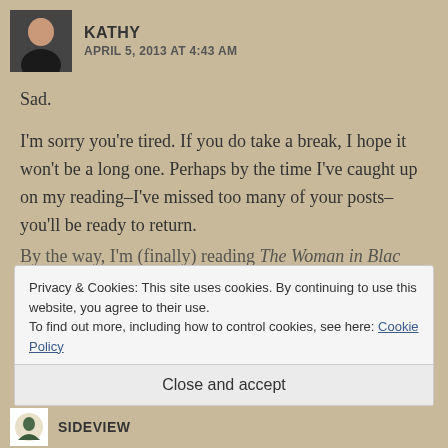KATHY — APRIL 5, 2013 AT 4:43 AM
Sad.
I'm sorry you're tired. If you do take a break, I hope it won't be a long one. Perhaps by the time I've caught up on my reading–I've missed too many of your posts–you'll be ready to return.
By the way, I'm (finally) reading The Woman in Black
Privacy & Cookies: This site uses cookies. By continuing to use this website, you agree to their use.
To find out more, including how to control cookies, see here: Cookie Policy
Close and accept
SIDEVIEW